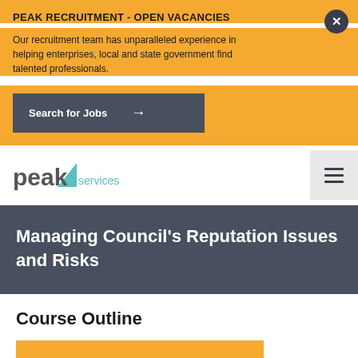PEAK RECRUITMENT - OPEN VACANCIES
Our recruitment team has unparalleled experience in helping enterprises, local and state government find talented professionals.
Search for Jobs →
[Figure (logo): Peak Services logo with teal triangle accent and 'services' in teal text]
Managing Council's Reputation Issues and Risks
Course Outline
Download Full Course Outline (PDF)